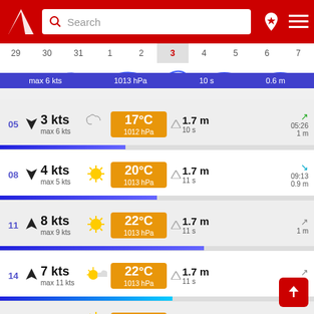[Figure (screenshot): Weather app header with red background, logo, search bar, and navigation icons]
[Figure (infographic): Date selector strip showing dates 29,30,31,1,2,3(today highlighted),4,5,6,7]
[Figure (infographic): Wave chart strip with blue wave visualization; summary: max 6 kts, 1013 hPa, 10 s, 0.6 m]
| Time | Wind | Max Wind | Weather | Temp | Pressure | Wave | Period | Tide |
| --- | --- | --- | --- | --- | --- | --- | --- | --- |
| 05 | 3 kts | max 6 kts | moon | 17°C | 1012 hPa | 1.7 m | 10 s | 05:26 1 m |
| 08 | 4 kts | max 5 kts | sunny | 20°C | 1013 hPa | 1.7 m | 11 s | 09:13 0.9 m |
| 11 | 8 kts | max 9 kts | sunny | 22°C | 1013 hPa | 1.7 m | 11 s | 1 m |
| 14 | 7 kts | max 11 kts | partly cloudy | 22°C | 1013 hPa | 1.7 m | 11 s | 1.5 m |
| 17 | 5 kts |  | sunny | 21°C |  | 1.8 m |  |  |